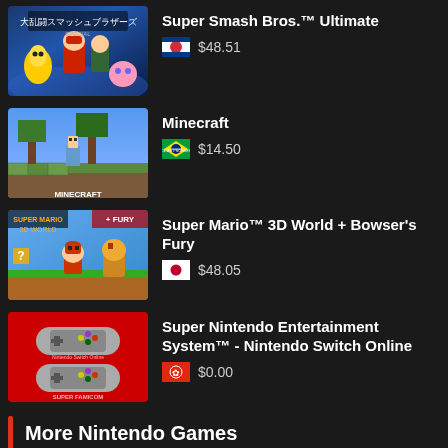Super Smash Bros.™ Ultimate — 🇰🇷 $48.51
Minecraft — 🇧🇷 $14.50
Super Mario™ 3D World + Bowser's Fury — 🇯🇵 $48.05
Super Nintendo Entertainment System™ - Nintendo Switch Online — 🇭🇰 $0.00
More Nintendo Games
Pokémon Scarlet — 🇯🇵 $47.48